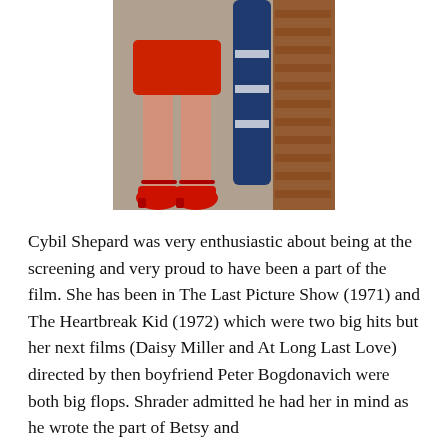[Figure (photo): Photograph showing the lower body of a woman wearing a red mini skirt and red platform high-heeled shoes, standing next to a dark blue cylindrical sign/post with a brick wall in the background.]
Cybil Shepard was very enthusiastic about being at the screening and very proud to have been a part of the film. She has been in The Last Picture Show (1971) and The Heartbreak Kid (1972) which were two big hits but her next films (Daisy Miller and At Long Last Love) directed by then boyfriend Peter Bogdonavich were both big flops. Shrader admitted he had her in mind as he wrote the part of Betsy and